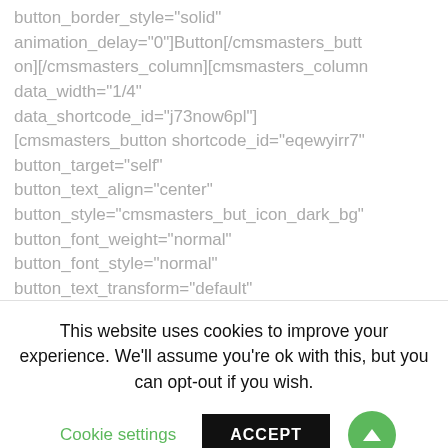button_border_style="solid" animation_delay="0"]Button[/cmsmasters_button][/cmsmasters_column][cmsmasters_column data_width="1/4" data_shortcode_id="j73now6pl"] [cmsmasters_button shortcode_id="eqewyirr7" button_target="self" button_text_align="center" button_style="cmsmasters_but_icon_dark_bg" button_font_weight="normal" button_font_style="normal" button_text_transform="default" button_icon="cmsmasters-icon-dribbble" button_border_style="solid" animation_delay="0"]Button[/cmsmasters_button][/cmsmasters_column][cmsmasters_column data_width="1/4" data_shortcode_id="lkx...
This website uses cookies to improve your experience. We'll assume you're ok with this, but you can opt-out if you wish.
Cookie settings
ACCEPT